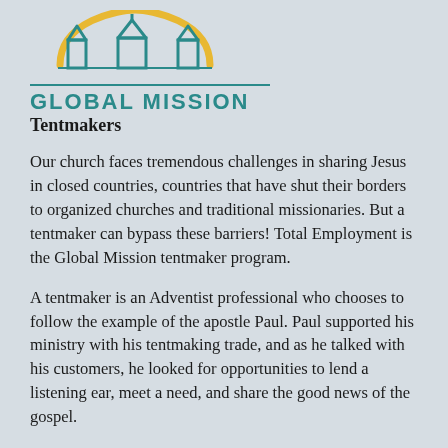[Figure (logo): Global Mission logo with yellow arch over church silhouettes and teal text reading GLOBAL MISSION]
Tentmakers
Our church faces tremendous challenges in sharing Jesus in closed countries, countries that have shut their borders to organized churches and traditional missionaries. But a tentmaker can bypass these barriers! Total Employment is the Global Mission tentmaker program.
A tentmaker is an Adventist professional who chooses to follow the example of the apostle Paul. Paul supported his ministry with his tentmaking trade, and as he talked with his customers, he looked for opportunities to lend a listening ear, meet a need, and share the good news of the gospel.